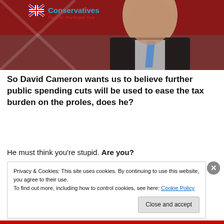[Figure (photo): Photo of David Cameron speaking at a podium, wearing a dark suit and blue tie, in front of a red background with a British flag. Conservatives logo in top-left with text 'Conservatives For The Privileged Few'.]
So David Cameron wants us to believe further public spending cuts will be used to ease the tax burden on the proles, does he?
He must think you’re stupid. Are you?
Privacy & Cookies: This site uses cookies. By continuing to use this website, you agree to their use.
To find out more, including how to control cookies, see here: Cookie Policy
Close and accept